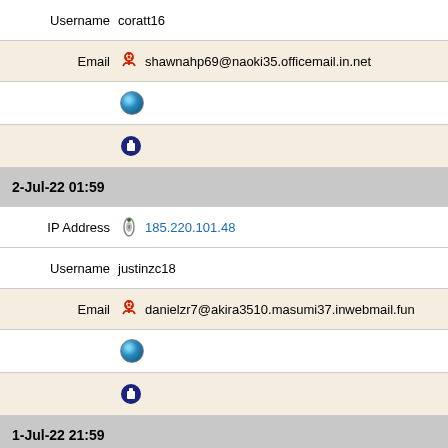Username   coratt16
Email   shawnahp69@naoki35.officemail.in.net
[Figure (other): Globe icon]
[Figure (other): Hand/cursor icon]
2-Jul-22 01:59
IP Address   185.220.101.48
Username   justinzc18
Email   danielzr7@akira3510.masumi37.inwebmail.fun
[Figure (other): Globe icon]
[Figure (other): Hand/cursor icon]
1-Jul-22 21:59
IP Address   185.220.101.48
Username   pearlox69
Email   milagrosqh5@masaaki810.shiro23.investmentweb.xyz
[Figure (other): Globe icon]
[Figure (other): Two hand/cursor icons]